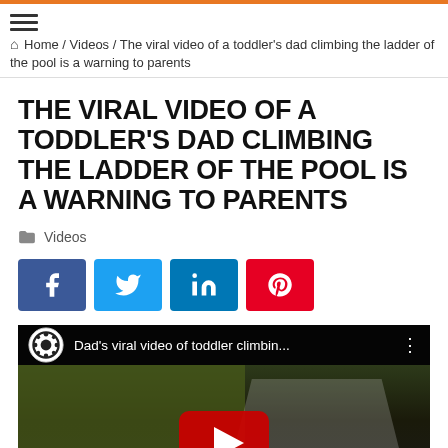Home / Videos / The viral video of a toddler's dad climbing the ladder of the pool is a warning to parents
THE VIRAL VIDEO OF A TODDLER'S DAD CLIMBING THE LADDER OF THE POOL IS A WARNING TO PARENTS
Videos
[Figure (screenshot): Social share buttons: Facebook (blue), Twitter (light blue), LinkedIn (blue), Pinterest (red)]
[Figure (screenshot): YouTube video thumbnail showing CBS News video titled 'Dad's viral video of toddler climbin...' with a play button overlay]